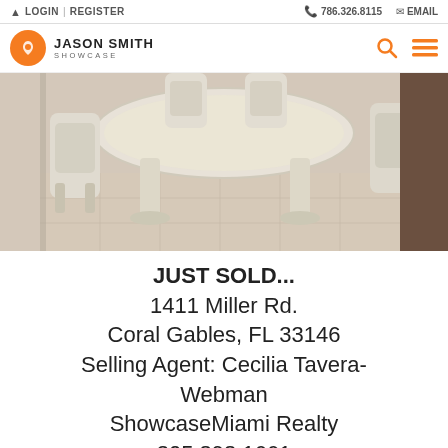LOGIN | REGISTER   786.326.8115   EMAIL
JASON SMITH SHOWCASE
[Figure (photo): Interior photo of a dining room with a white ornate round pedestal table and matching chairs with beige upholstery, tile floor]
JUST SOLD...
1411 Miller Rd.
Coral Gables, FL 33146
Selling Agent: Cecilia Tavera-Webman
ShowcaseMiami Realty
305.898.1661